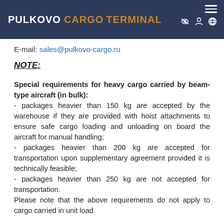PULKOVO CARGO TERMINAL
E-mail: sales@pulkovo-cargo.ru
NOTE:
Special requirements for heavy cargo carried by beam-type aircraft (in bulk):
- packages heavier than 150 kg are accepted by the warehouse if they are provided with hoist attachments to ensure safe cargo loading and unloading on board the aircraft for manual handling;
- packages heavier than 200 kg are accepted for transportation upon supplementary agreement provided it is technically feasible;
- packages heavier than 250 kg are not accepted for transportation.
Please note that the above requirements do not apply to cargo carried in unit load